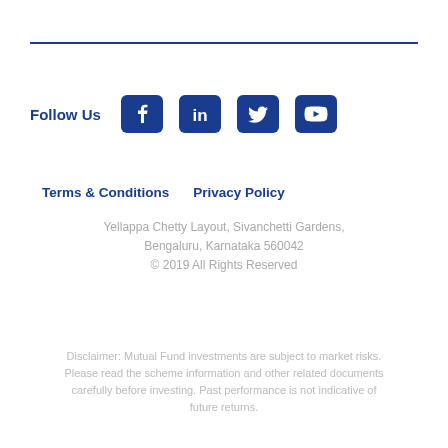[Figure (other): Social media icons row: Facebook, LinkedIn, Twitter, YouTube with 'Follow Us' label in blue]
Terms & Conditions   Privacy Policy
Yellappa Chetty Layout, Sivanchetti Gardens,
Bengaluru, Karnataka 560042
© 2019 All Rights Reserved
Disclaimer: Mutual Fund investments are subject to market risks. Please read the scheme information and other related documents carefully before investing. Past performance is not indicative of future returns.